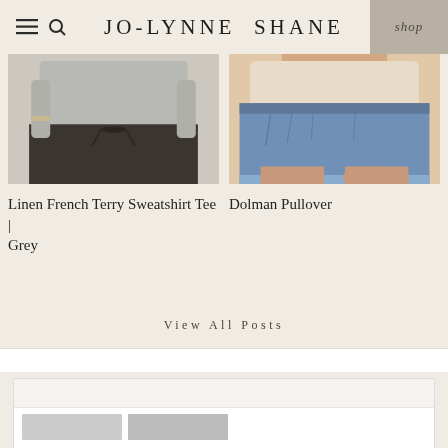JO-LYNNE SHANE
[Figure (photo): Product photo of a grey Linen French Terry Sweatshirt Tee, showing torso area with dark jogger/sweatpants]
Linen French Terry Sweatshirt Tee | Grey
[Figure (photo): Product photo of a Dolman Pullover, showing denim cutoff shorts and a peach/cream top]
Dolman Pullover
View All Posts
[Figure (screenshot): Bottom portion of a white card/section beginning to appear at the very bottom of the page]